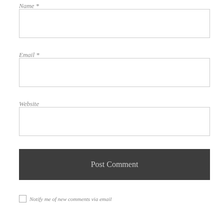Name *
[Figure (other): Empty text input box for Name field]
Email *
[Figure (other): Empty text input box for Email field]
Website
[Figure (other): Empty text input box for Website field]
[Figure (other): Post Comment button, dark gray background]
Notify me of new comments via email